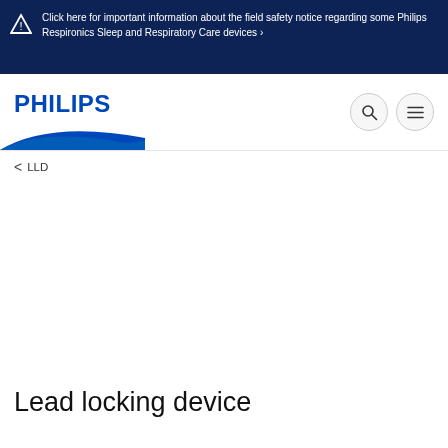Click here for important information about the field safety notice regarding some Philips Respironics Sleep and Respiratory Care devices ›
[Figure (logo): Philips logo with blue wordmark PHILIPS and blue wave/shield at bottom]
< LLD
Lead locking device